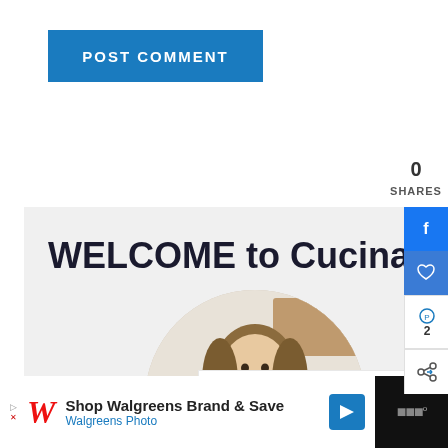[Figure (screenshot): POST COMMENT button in blue]
0
SHARES
[Figure (screenshot): WELCOME to CucinaByElena heading with circular profile photo of a woman in a kitchen, social sharing sidebar with Facebook, heart, pin (2), and share icons, and a What's Next panel showing Sunday Story: Culture With...]
[Figure (screenshot): Advertisement bar: Shop Walgreens Brand & Save, Walgreens Photo]